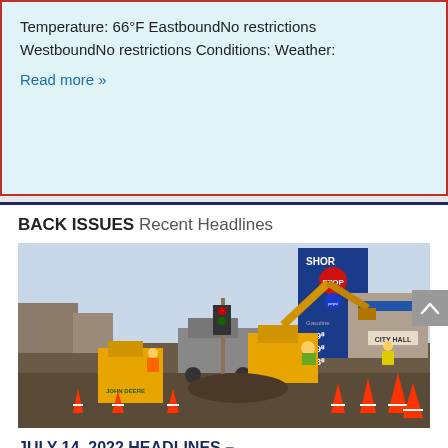Temperature: 66°F EastboundNo restrictions WestboundNo restrictions Conditions: Weather:
Read more »
BACK ISSUES Recent Headlines
[Figure (photo): Construction scene with John Deere excavators and dump truck working at a road intersection, orange traffic cones, workers in safety vests, gas station sign showing prices 489, 499, 628, CITY HALL sign, STOP sign visible in background.]
JULY 14, 2022 HEADLINES – Northern Kittitas County